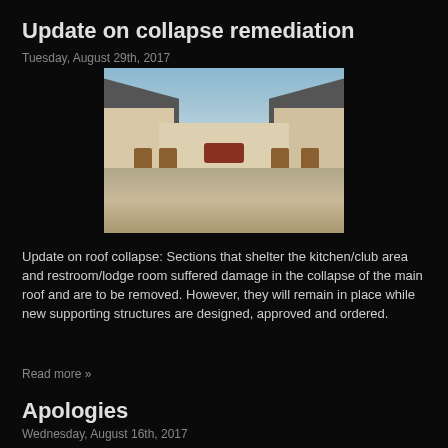Update on collapse remediation
Tuesday, August 29th, 2017
[Figure (photo): Exterior courtyard view of a building with white walls, brown doors, dark roofline sections, and a dirt/gravel ground area under a partly cloudy sky.]
Update on roof collapse: Sections that shelter the kitchen/club area and restroom/lodge room suffered damage in the collapse of the main roof and are to be removed. However, they will remain in place while new supporting structures are designed, approved and ordered.
Read more »
Apologies
Wednesday, August 16th, 2017
Sorry about the upside down pics. Tried unsuccessfully to rectify.